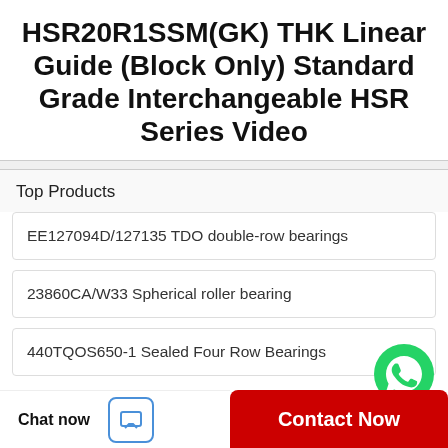HSR20R1SSM(GK) THK Linear Guide (Block Only) Standard Grade Interchangeable HSR Series Video
Top Products
EE127094D/127135 TDO double-row bearings
23860CA/W33 Spherical roller bearing
440TQOS650-1 Sealed Four Row Bearings
[Figure (illustration): WhatsApp green circle icon with phone handset, labeled WhatsApp Online]
Chat now
Contact Now